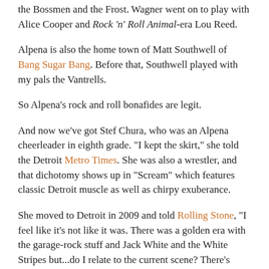the Bossmen and the Frost. Wagner went on to play with Alice Cooper and Rock 'n' Roll Animal-era Lou Reed.
Alpena is also the home town of Matt Southwell of Bang Sugar Bang. Before that, Southwell played with my pals the Vantrells.
So Alpena's rock and roll bonafides are legit.
And now we've got Stef Chura, who was an Alpena cheerleader in eighth grade. "I kept the skirt," she told the Detroit Metro Times. She was also a wrestler, and that dichotomy shows up in "Scream" which features classic Detroit muscle as well as chirpy exuberance.
She moved to Detroit in 2009 and told Rolling Stone, "I feel like it's not like it was. There was a golden era with the garage-rock stuff and Jack White and the White Stripes but...do I relate to the current scene? There's definitely a scene that I've played music in for a long time. So I do relate to that."